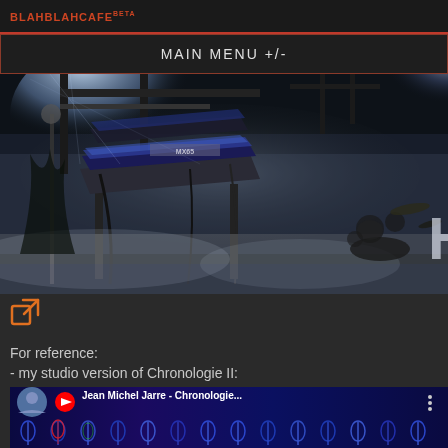BLAHBLAHCAFE beta
MAIN MENU +/-
[Figure (photo): Concert stage photo showing keyboard/synthesizer equipment with blue and white stage lighting, smoke effects, and drum kit visible on the right side]
[Figure (other): External link icon (square with arrow)]
For reference:
- my studio version of Chronologie II:
[Figure (screenshot): YouTube video thumbnail for 'Jean Michel Jarre - Chronologie...' showing CHRONOLOGIE part 2 text with thermal camera silhouettes of human figures, red YouTube play button overlay, and text 'performed by JAN MICHAL SZULEW']